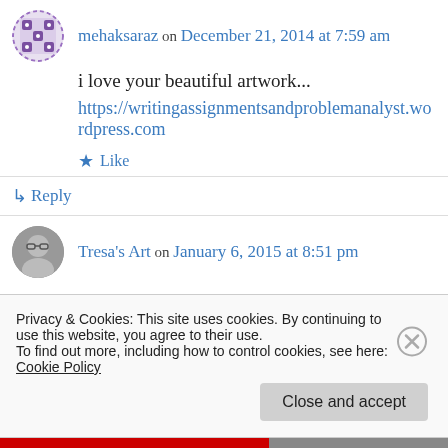mehaksaraz on December 21, 2014 at 7:59 am
i love your beautiful artwork...
https://writingassignmentsandproblemanalyst.wordpress.com
★ Like
↳ Reply
Tresa's Art on January 6, 2015 at 8:51 pm
Privacy & Cookies: This site uses cookies. By continuing to use this website, you agree to their use.
To find out more, including how to control cookies, see here: Cookie Policy
Close and accept